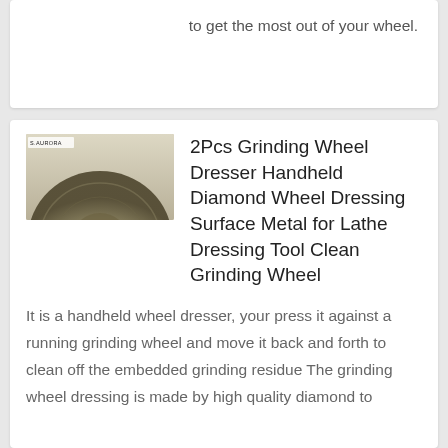to get the most out of your wheel.
[Figure (photo): Product photo of a grinding wheel dresser tool, showing the circular diamond-coated wheel surface with a handle, with a small brand label in the top-left corner.]
2Pcs Grinding Wheel Dresser Handheld Diamond Wheel Dressing Surface Metal for Lathe Dressing Tool Clean Grinding Wheel
It is a handheld wheel dresser, your press it against a running grinding wheel and move it back and forth to clean off the embedded grinding residue The grinding wheel dressing is made by high quality diamond to